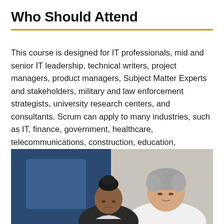Who Should Attend
This course is designed for IT professionals, mid and senior IT leadership, technical writers, project managers, product managers, Subject Matter Experts and stakeholders, military and law enforcement strategists, university research centers, and consultants. Scrum can apply to many industries, such as IT, finance, government, healthcare, telecommunications, construction, education, insurance, automotive, manufacturing, and others that need to develop high-quality solutions quickly.
[Figure (photo): Two people, a younger woman with hair in a bun and an older man with grey hair in a white shirt, looking down together, likely in a classroom or office setting with blue wall visible.]